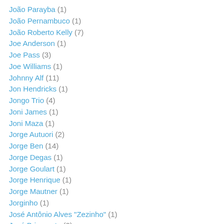João Parayba (1)
João Pernambuco (1)
João Roberto Kelly (7)
Joe Anderson (1)
Joe Pass (3)
Joe Williams (1)
Johnny Alf (11)
Jon Hendricks (1)
Jongo Trio (4)
Joni James (1)
Joni Maza (1)
Jorge Autuori (2)
Jorge Ben (14)
Jorge Degas (1)
Jorge Goulart (1)
Jorge Henrique (1)
Jorge Mautner (1)
Jorginho (1)
José Antônio Alves "Zezinho" (1)
José Briamonte (2)